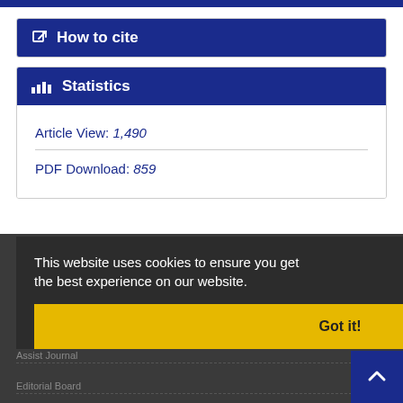How to cite
Statistics
Article View: 1,490
PDF Download: 859
This website uses cookies to ensure you get the best experience on our website.
Got it!
Assist Journal
Editorial Board